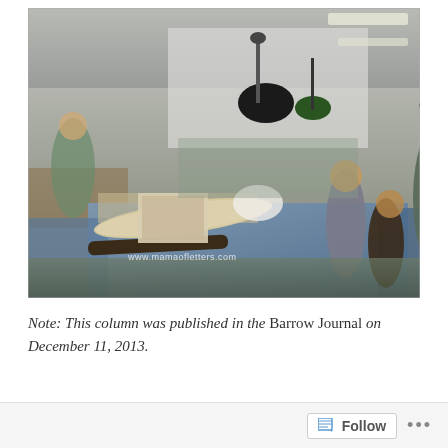[Figure (photo): Indoor trade show or antique fair scene. People browsing vendor tables covered with blue tablecloths, displaying fossils, artifacts, and other items. In the foreground, a man and two children examine items on a table including what appears to be a large tusk or mammoth ivory. Photography equipment and lamps visible overhead. Watermark reads www.mamaofletters.com.]
Note: This column was published in the Barrow Journal on December 11, 2013.